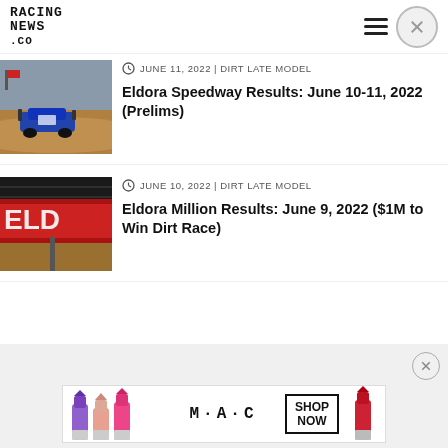RACING NEWS.CO
[Figure (screenshot): Thumbnail photo of a dirt late model race car on a dirt track]
JUNE 11, 2022 | DIRT LATE MODEL
Eldora Speedway Results: June 10-11, 2022 (Prelims)
[Figure (photo): Thumbnail photo of Eldora speedway signage with red letters]
JUNE 10, 2022 | DIRT LATE MODEL
Eldora Million Results: June 9, 2022 ($1M to Win Dirt Race)
[Figure (photo): MAC cosmetics advertisement banner showing lipsticks with SHOP NOW button]